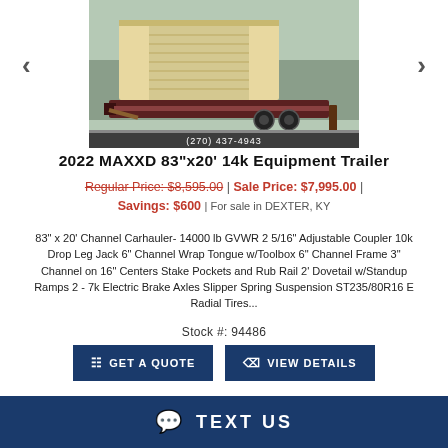[Figure (photo): Photo of a 2022 MAXXD 83x20 14k Equipment Trailer parked in front of a building, phone number (270) 437-4943 shown at bottom]
2022 MAXXD 83"x20' 14k Equipment Trailer
Regular Price: $8,595.00 | Sale Price: $7,995.00 | Savings: $600 | For sale in DEXTER, KY
83" x 20' Channel Carhauler- 14000 lb GVWR 2 5/16" Adjustable Coupler 10k Drop Leg Jack 6" Channel Wrap Tongue w/Toolbox 6" Channel Frame 3" Channel on 16" Centers Stake Pockets and Rub Rail 2' Dovetail w/Standup Ramps 2 - 7k Electric Brake Axles Slipper Spring Suspension ST235/80R16 E Radial Tires...
Stock #: 94486
GET A QUOTE
VIEW DETAILS
TEXT US